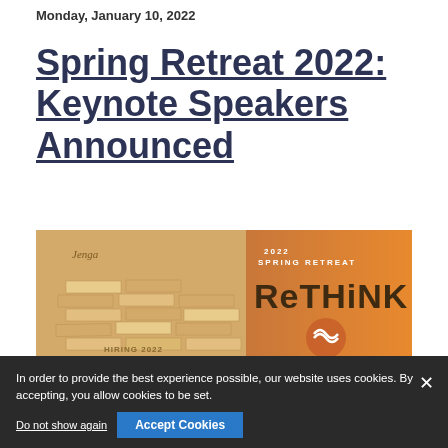Monday, January 10, 2022
Spring Retreat 2022: Keynote Speakers Announced
[Figure (photo): Banner image for 2022 Spring Retreat event 'RETHINK' by VA Council of CEOs, showing Jenga blocks on the left and orange gradient with RETHINK logo text on the right, text 'HIRING 2022' visible on wooden blocks.]
The VA Council of CEOs' annual Spring Retreat includes well-known, national keynote speakers relevant and...
In order to provide the best experience possible, our website uses cookies. By accepting, you allow cookies to be set.